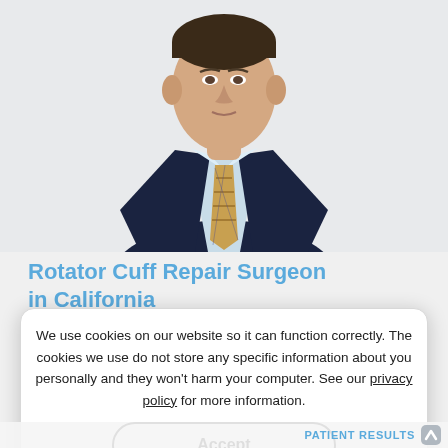[Figure (photo): Professional headshot of a male doctor or surgeon in a dark suit with a plaid tie and light blue shirt, photographed from chest up against a light background.]
Rotator Cuff Repair Surgeon in California
Rotator cuff tears are commonly caused by acute injuries or degenerative changes that occur
We use cookies on our website so it can function correctly. The cookies we use do not store any specific information about you personally and they won't harm your computer. See our privacy policy for more information.
rotator cuff repair in California. Dr. Nassos also provides the highest level of care during and after surgery. Contact PATIENT RESULTS appointment to
Accept